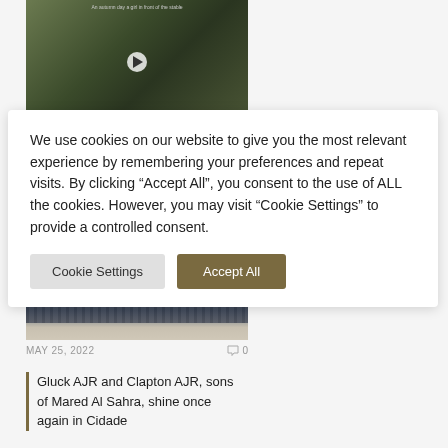[Figure (photo): Video thumbnail showing a person on horseback in front of a stable, with a play button overlay and caption text at top]
We use cookies on our website to give you the most relevant experience by remembering your preferences and repeat visits. By clicking “Accept All”, you consent to the use of ALL the cookies. However, you may visit “Cookie Settings” to provide a controlled consent.
Cookie Settings | Accept All
[Figure (photo): Image of horses and fence in a snowy or sandy outdoor arena]
MAY 25, 2022   0
Gluck AJR and Clapton AJR, sons of Mared Al Sahra, shine once again in Cidade